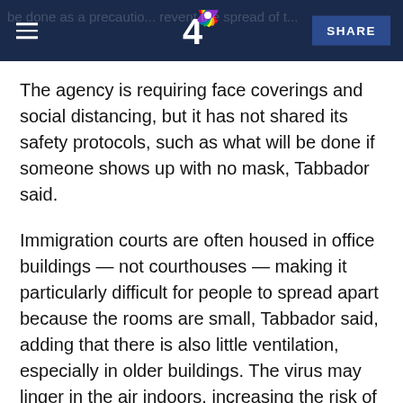NBC 4 — [hamburger menu] [NBC 4 logo] SHARE
The agency is requiring face coverings and social distancing, but it has not shared its safety protocols, such as what will be done if someone shows up with no mask, Tabbador said.
Immigration courts are often housed in office buildings — not courthouses — making it particularly difficult for people to spread apart because the rooms are small, Tabbador said, adding that there is also little ventilation, especially in older buildings. The virus may linger in the air indoors, increasing the risk of infection in those spaces, according to the World Health Organization.
Last month, a dozen Democratic senators wrote to the